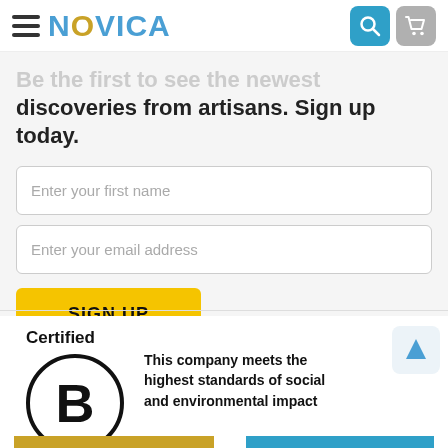[Figure (logo): NOVICA logo with hamburger menu icon, search icon, and cart icon in header]
Be the first to see the newest discoveries from artisans. Sign up today.
Enter your first name
Enter your email address
SIGN UP
[Figure (logo): Certified B Corporation logo with circle B symbol and text: This company meets the highest standards of social and environmental impact]
Certified
This company meets the highest standards of social and environmental impact